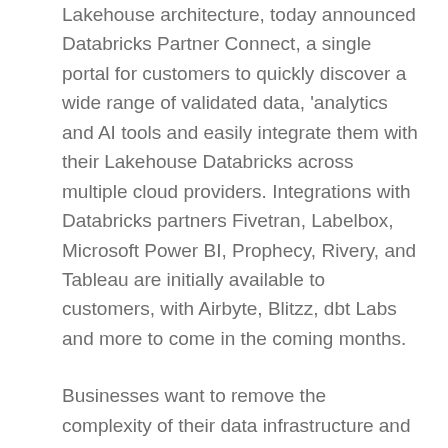Lakehouse architecture, today announced Databricks Partner Connect, a single portal for customers to quickly discover a wide range of validated data, 'analytics and AI tools and easily integrate them with their Lakehouse Databricks across multiple cloud providers. Integrations with Databricks partners Fivetran, Labelbox, Microsoft Power BI, Prophecy, Rivery, and Tableau are initially available to customers, with Airbyte, Blitzz, dbt Labs and more to come in the coming months.
Businesses want to remove the complexity of their data infrastructure and embrace more open technologies to better leverage analytics and AI. The Databricks-enabled data lakehouse has put thousands of customers on this path, collectively processing multiple exabytes of data per day on a single platform for analytics and AI workloads. But the data ecosystem is vast, and no single vendor can accomplish it all. Every business has a multitude of tools and data sources that must be connected, secure, and governed to enable every user within an organization to find, use, and share data-driven information. Putting everything together has always been a burden